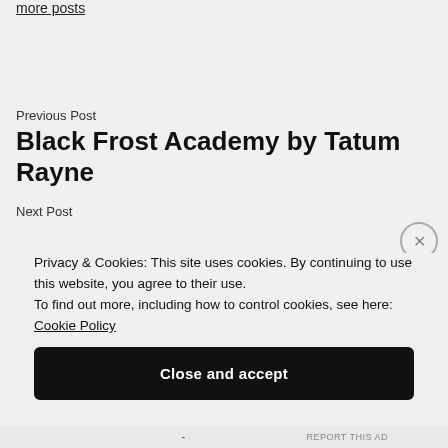more posts
Previous Post
Black Frost Academy by Tatum Rayne
Next Post
Privacy & Cookies: This site uses cookies. By continuing to use this website, you agree to their use.
To find out more, including how to control cookies, see here: Cookie Policy
Close and accept